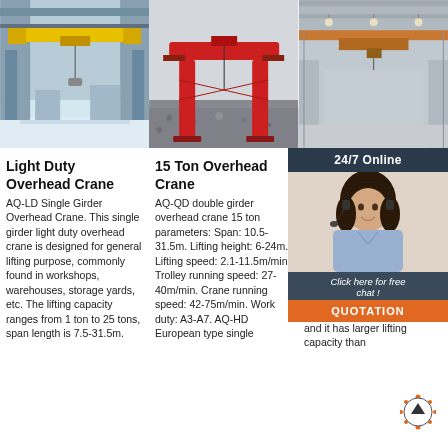[Figure (photo): Yellow double-girder overhead crane inside a large industrial warehouse with blue floor]
[Figure (photo): Red gantry crane outdoors on a gravel yard against a grey sky]
[Figure (photo): Single-girder overhead crane mounted on ceiling rails inside a factory building]
[Figure (photo): 24/7 Online chat widget with female customer service agent wearing headset]
Light Duty Overhead Crane
AQ-LD Single Girder Overhead Crane. This single girder light duty overhead crane is designed for general lifting purpose, commonly found in workshops, warehouses, storage yards, etc. The lifting capacity ranges from 1 ton to 25 tons, span length is 7.5-31.5m.
15 Ton Overhead Crane
AQ-QD double girder overhead crane 15 ton parameters: Span: 10.5-31.5m. Lifting height: 6-24m. Lifting speed: 2.1-11.5m/min. Trolley running speed: 27-40m/min. Crane running speed: 42-75m/min. Work duty: A3-A7. AQ-HD European type single
Industrial Overhead Crane - Aicrane Overhead Crane For Sale
Industrial overhead crane is a kind of overhead crane equipment used in many industries to lift and move heavy and over-sized goods and it has larger lifting capacity than